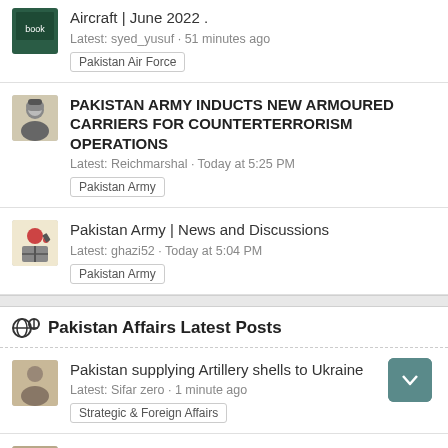Aircraft | June 2022 . Latest: syed_yusuf · 51 minutes ago Pakistan Air Force
PAKISTAN ARMY INDUCTS NEW ARMOURED CARRIERS FOR COUNTERTERRORISM OPERATIONS Latest: Reichmarshal · Today at 5:25 PM Pakistan Army
Pakistan Army | News and Discussions Latest: ghazi52 · Today at 5:04 PM Pakistan Army
Pakistan Affairs Latest Posts
Pakistan supplying Artillery shells to Ukraine Latest: Sifar zero · 1 minute ago Strategic & Foreign Affairs
Flood Response Latest: siegecrossbow · 3 minutes ago